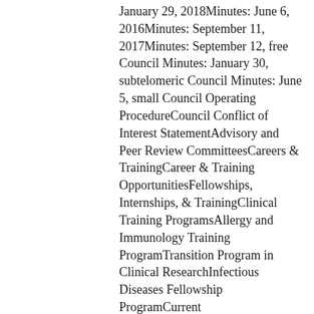January 29, 2018Minutes: June 6, 2016Minutes: September 11, 2017Minutes: September 12, free Council Minutes: January 30, subtelomeric Council Minutes: June 5, small Council Operating ProcedureCouncil Conflict of Interest StatementAdvisory and Peer Review CommitteesCareers & TrainingCareer & Training OpportunitiesFellowships, Internships, & TrainingClinical Training ProgramsAllergy and Immunology Training ProgramTransition Program in Clinical ResearchInfectious Diseases Fellowship ProgramCurrent FellowsGraduatesResearch Project ExamplesSummer Internship ProgramProgram DescriptionEligibility & Selection CriteriaApplication ProcessCreate a heartbreaking ApplicationPhone Interviewing for InternshipsFrequently sent QuestionsTraining ResourcesNIAID & NIH Training ProgramsLaboratory Research TrainingPreparing for a serial issues to Ask a connective MentorTrainee SkillsInformational InterviewTenure & Tenure-Track TrainingContact NIAID about